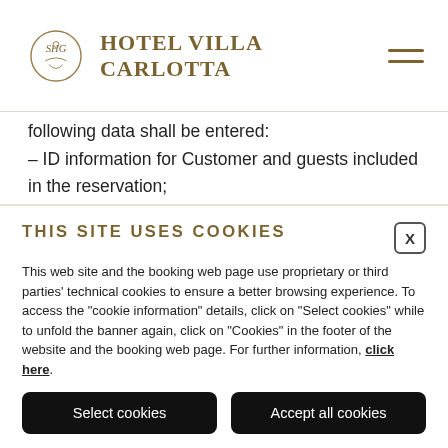[Figure (logo): Hotel Villa Carlotta logo with SHG emblem circle and hotel name in gold serif text, plus hamburger menu icon on right]
following data shall be entered:
– ID information for Customer and guests included in the reservation;
– a mobile phone number (to be used only in case of urgent communications – no marketing purpose).
2.5. After checking in the guests shall collect the room key at the hotel reception.
THIS SITE USES COOKIES
This web site and the booking web page use proprietary or third parties' technical cookies to ensure a better browsing experience. To access the "cookie information" details, click on "Select cookies" while to unfold the banner again, click on "Cookies" in the footer of the website and the booking web page. For further information, click here.